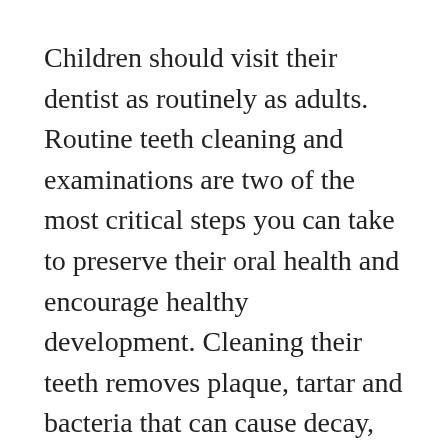Children should visit their dentist as routinely as adults. Routine teeth cleaning and examinations are two of the most critical steps you can take to preserve their oral health and encourage healthy development. Cleaning their teeth removes plaque, tartar and bacteria that can cause decay, gum disease, chronic bad breath and which may affect how their adult teeth come in. A kid-friendly hygienist is able to get into spaces that aren't easy for kids to reach with routine brushing and flossing at home.
After a thorough cleaning is the perfect time for the hygienist and dentist to closely examine their overall oral health, problem areas, baby teeth that may be coming in or falling out, and adult teeth that